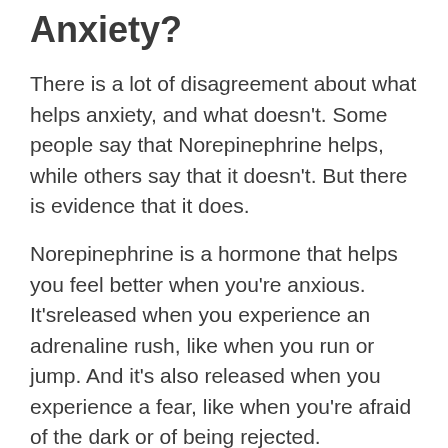Anxiety?
There is a lot of disagreement about what helps anxiety, and what doesn't. Some people say that Norepinephrine helps, while others say that it doesn't. But there is evidence that it does.
Norepinephrine is a hormone that helps you feel better when you're anxious. It'sreleased when you experience an adrenaline rush, like when you run or jump. And it's also released when you experience a fear, like when you're afraid of the dark or of being rejected.
There isn't evidence that Norepinephrine helps with all of these things, but it seems to help with anxiety. It also seems to help with the feeling of safety, which is important for people who are feeling